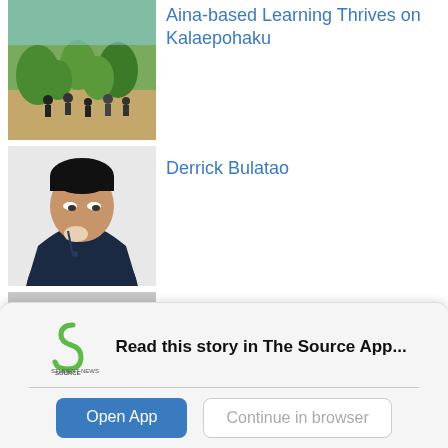[Figure (photo): Outdoor scene with people among plants and greenery]
Aina-based Learning Thrives on Kalaepohaku
[Figure (photo): Portrait of a man in a dark jacket adjusting his collar]
Derrick Bulatao
[Figure (photo): Young man in white jacket with colorful lei and bow tie]
Aloha Saint Louis
Read this story in The Source App...
Open App
Continue in browser